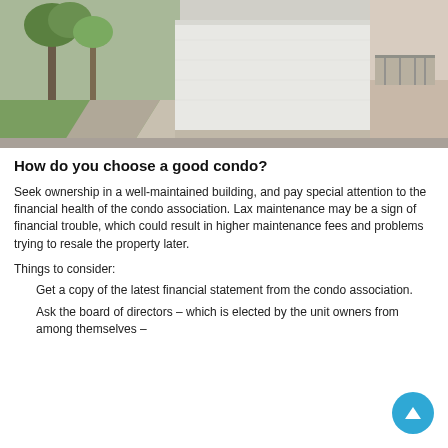[Figure (photo): Outdoor photo showing a walkway beside a long white concrete fence/wall with trees and grass on the left, and a modern building with a balcony visible on the right.]
How do you choose a good condo?
Seek ownership in a well-maintained building, and pay special attention to the financial health of the condo association. Lax maintenance may be a sign of financial trouble, which could result in higher maintenance fees and problems trying to resale the property later.
Things to consider:
Get a copy of the latest financial statement from the condo association.
Ask the board of directors – which is elected by the unit owners from among themselves –